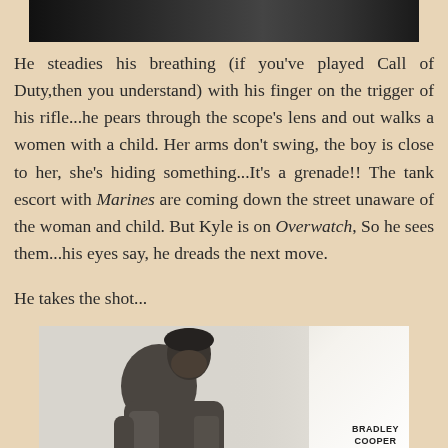[Figure (photo): Dark, partially visible image at the top of the page, appears to be a movie still or dark scene]
He steadies his breathing (if you've played Call of Duty,then you understand) with his finger on the trigger of his rifle...he pears through the scope's lens and out walks a women with a child. Her arms don't swing, the boy is close to her, she's hiding something...It's a grenade!! The tank escort with Marines are coming down the street unaware of the woman and child. But Kyle is on Overwatch, So he sees them...his eyes say, he dreads the next move.
He takes the shot...
[Figure (photo): Movie poster or promotional image for American Sniper showing a bearded man in military gear looking down, with text 'BRADLEY COOPER' and 'SIENNA' visible]